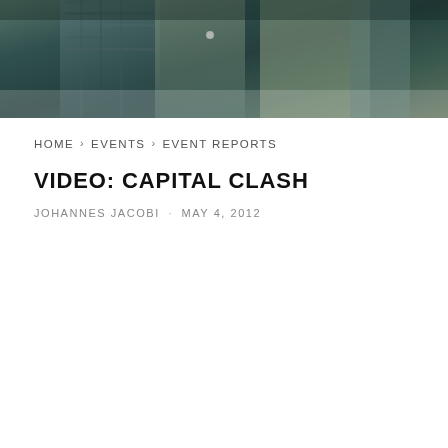[Figure (photo): Dark teal-toned photograph showing clothing items on hangers, close-up view of fabric textures]
HOME > EVENTS > EVENT REPORTS
VIDEO: CAPITAL CLASH
JOHANNES JACOBI · MAY 4, 2012